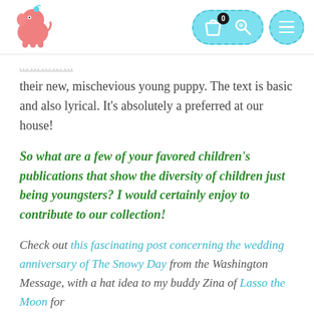[Figure (logo): Pink elephant logo in top left header]
[Figure (screenshot): Navigation header with teal dashed pill containing shopping bag icon with badge '0' and key/search icon, plus a separate teal circle with menu/hamburger icon]
their new, mischevious young puppy. The text is basic and also lyrical. It's absolutely a preferred at our house!
So what are a few of your favored children's publications that show the diversity of children just being youngsters? I would certainly enjoy to contribute to our collection!
Check out this fascinating post concerning the wedding anniversary of The Snowy Day from the Washington Message, with a hat idea to my buddy Zina of Lasso the Moon for